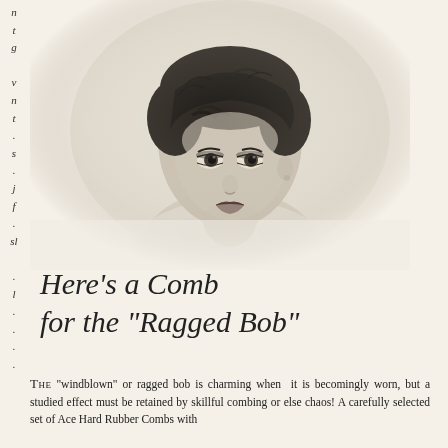n
g

v
n
t
.
s
.
j
f
.
sl

.
l
.
.
.
.
[Figure (photo): Black and white photograph of a young woman with a short windblown or ragged bob hairstyle, wearing a light-colored fluffy collar or fur, looking slightly to the side. The photo has a soft vignette style typical of 1920s-1930s portrait photography.]
Here's a Comb for the "Ragged Bob"
THE "windblown" or ragged bob is charming when it is becomingly worn, but a studied effect must be retained by skillful combing or else chaos! A carefully selected set of Ace Hard Rubber Combs with